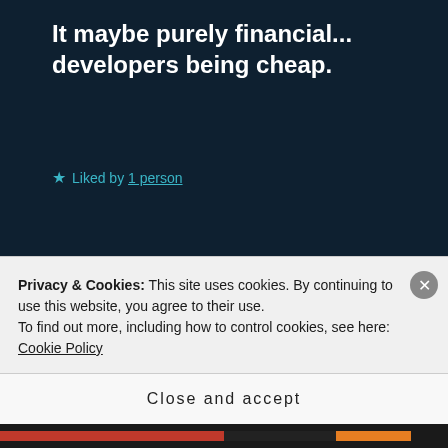It maybe purely financial... developers being cheap.
★ Liked by 1 person
MARK ARMSTRONG says: ↵ Reply
October 31, 2019 at 7:00 pm
Fantastic guided tour, Jean, thank you– and I simply must get one of
Privacy & Cookies: This site uses cookies. By continuing to use this website, you agree to their use.
To find out more, including how to control cookies, see here: Cookie Policy
Close and accept